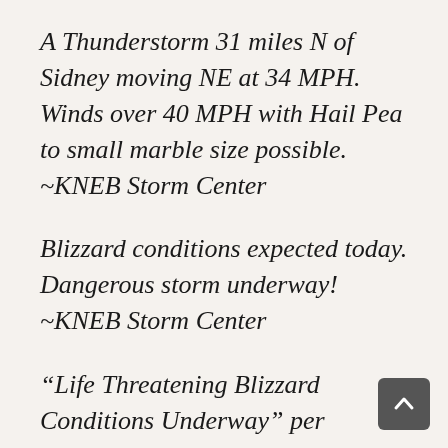A Thunderstorm 31 miles N of Sidney moving NE at 34 MPH. Winds over 40 MPH with Hail Pea to small marble size possible. ~KNEB Storm Center
Blizzard conditions expected today. Dangerous storm underway! ~KNEB Storm Center
“Life Threatening Blizzard Conditions Underway” per @NWSNorthPlatte in western Nebraska: Impossible travel conditions due to strong winds and heavy snow ongoing! STAY off the roads until #winterstormXanto lets up!!